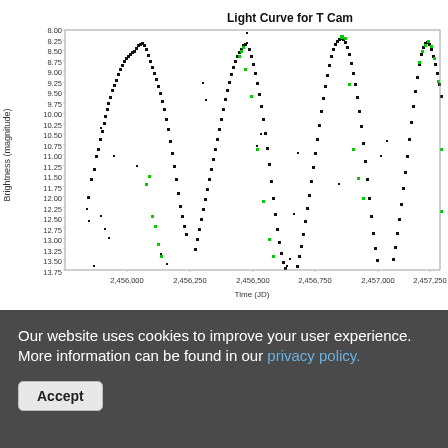[Figure (continuous-plot): Scatter plot showing the light curve for T Cam. X-axis shows Time (JD) from approximately 2,456,000 to beyond 2,457,250. Y-axis shows Brightness in magnitude from 8.00 (top) to 13.75 (bottom). Black and green data points form multiple wave-like peaks (approximately 4 visible), representing periodic brightness variations of the variable star T Cam.]
Our website uses cookies to improve your user experience. More information can be found in our privacy policy.
Accept